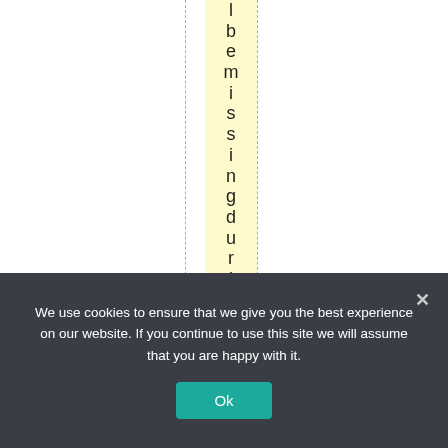[Figure (other): Document layout editor view showing vertical dashed guide lines on white background, with a yellow highlighted column containing vertical text spelling out 'lbemissingduringth']
We use cookies to ensure that we give you the best experience on our website. If you continue to use this site we will assume that you are happy with it.